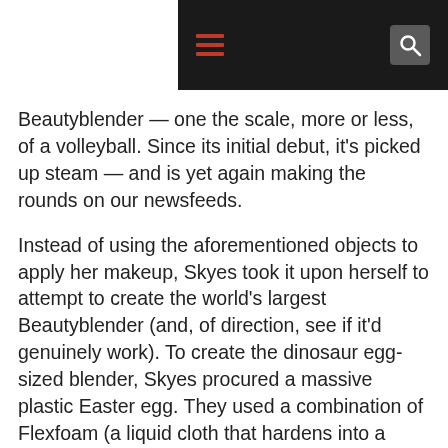[Navigation bar with hamburger menu and search icon]
Beautyblender — one the scale, more or less, of a volleyball. Since its initial debut, it's picked up steam — and is yet again making the rounds on our newsfeeds.
Instead of using the aforementioned objects to apply her makeup, Skyes took it upon herself to attempt to create the world's largest Beautyblender (and, of direction, see if it'd genuinely work). To create the dinosaur egg-sized blender, Skyes procured a massive plastic Easter egg. They used a combination of Flexfoam (a liquid cloth that hardens into a strong polyurethane foam) and food coloring to approximate the texture and color of the OG Beautyblender. After mixing the materials together, she stuffed the egg mold with the new purple foam and waited for it to set. Finally, as soon as the froth had set, she glued the two halves collectively to create the egg-fashioned, jumbo-sized Beautyblender.